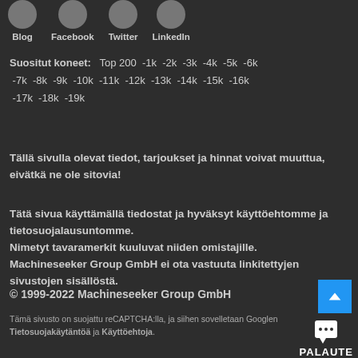Blog  Facebook  Twitter  LinkedIn
Suositut koneet:  Top 200  -1k  -2k  -3k  -4k  -5k  -6k  -7k  -8k  -9k  -10k  -11k  -12k  -13k  -14k  -15k  -16k  -17k  -18k  -19k
Tällä sivulla olevat tiedot, tarjoukset ja hinnat voivat muuttua, eivätkä ne ole sitovia!
Tätä sivua käyttämällä tiedostat ja hyväksyt käyttöehtomme ja tietosuojalausuntomme. Nimetyt tavaramerkit kuuluvat niiden omistajille. Machineseeker Group GmbH ei ota vastuuta linkitettyjen sivustojen sisällöstä.
© 1999-2022 Machineseeker Group GmbH
Tämä sivusto on suojattu reCAPTCHA:lla, ja siihen sovelletaan Googlen Tietosuojakäytäntöä ja Käyttöehtoja.